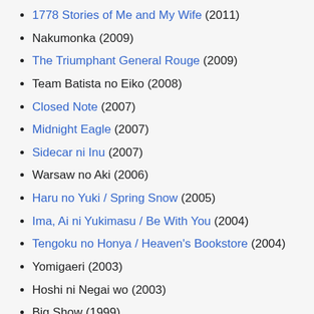1778 Stories of Me and My Wife (2011)
Nakumonka (2009)
The Triumphant General Rouge (2009)
Team Batista no Eiko (2008)
Closed Note (2007)
Midnight Eagle (2007)
Sidecar ni Inu (2007)
Warsaw no Aki (2006)
Haru no Yuki / Spring Snow (2005)
Ima, Ai ni Yukimasu / Be With You (2004)
Tengoku no Honya / Heaven's Bookstore (2004)
Yomigaeri (2003)
Hoshi ni Negai wo (2003)
Big Show (1999)
Ringu (1998)
Innocent World (1998)
Endorsements